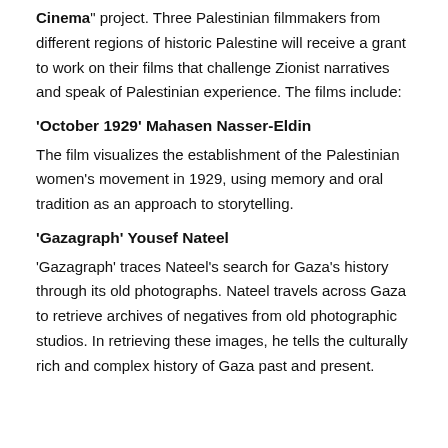"Cinema" project. Three Palestinian filmmakers from different regions of historic Palestine will receive a grant to work on their films that challenge Zionist narratives and speak of Palestinian experience. The films include:
'October 1929' Mahasen Nasser-Eldin
The film visualizes the establishment of the Palestinian women's movement in 1929, using memory and oral tradition as an approach to storytelling.
'Gazagraph' Yousef Nateel
'Gazagraph' traces Nateel's search for Gaza's history through its old photographs. Nateel travels across Gaza to retrieve archives of negatives from old photographic studios. In retrieving these images, he tells the culturally rich and complex history of Gaza past and present.